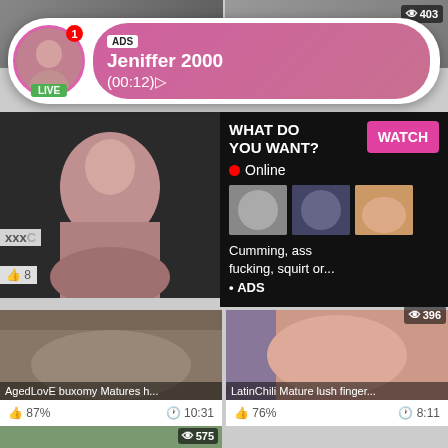[Figure (screenshot): Top row thumbnails — two blurred video thumbnails side by side]
[Figure (infographic): ADS banner overlay: avatar with LIVE badge, gradient pill showing 'ADS', 'Jeniffer 2000', '(00:12)']
[Figure (screenshot): Large video thumbnail on left of middle section]
[Figure (screenshot): Popup overlay: 'WHAT DO YOU WANT?' with WATCH button, Online indicator, three mini thumbnails, description text, ADS label]
[Figure (screenshot): Right strip thumbnail with 0:10 time and 396 view count]
[Figure (screenshot): Bottom left video tile: AgedLovE buxomy Matures h...]
[Figure (screenshot): Bottom right video tile: LatinChili Mature lush finger...]
87%   10:31   76%   8:11
[Figure (screenshot): Very bottom left thumbnail with 575 view count]
[Figure (screenshot): Very bottom right thumbnail with 593 view count]